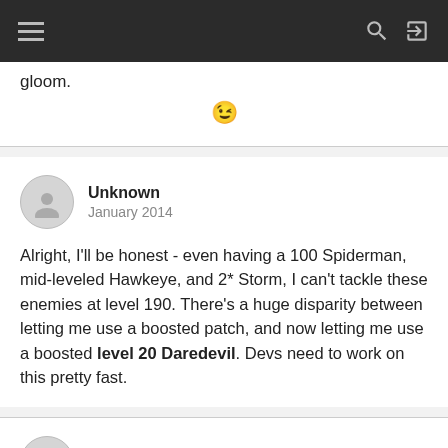(hamburger menu, search, login icons)
gloom.
[Figure (illustration): Smiling / winking emoji face]
Unknown
January 2014
Alright, I'll be honest - even having a 100 Spiderman, mid-leveled Hawkeye, and 2* Storm, I can't tackle these enemies at level 190. There's a huge disparity between letting me use a boosted patch, and now letting me use a boosted level 20 Daredevil. Devs need to work on this pretty fast.
darkmagearcanis  Posts: 401